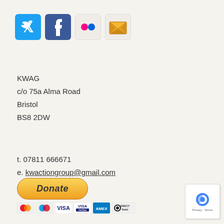[Figure (infographic): Four social media / contact icons in a row: Twitter (blue bird icon), Facebook (blue f icon), Flickr (white box with colored dots), and email/envelope (gold envelope icon)]
KWAG
c/o 75a Alma Road
Bristol
BS8 2DW
t. 07811 666671
e. kwactiongroup@gmail.com
[Figure (infographic): PayPal Donate button (gold rounded rectangle with italic bold text 'Donate') and a row of payment method icons: Mastercard, Maestro, Visa, Visa (Verified), American Express, Direct Debit]
[Figure (infographic): Google reCAPTCHA badge in bottom right corner showing reCAPTCHA logo and 'Privacy - Terms' text]